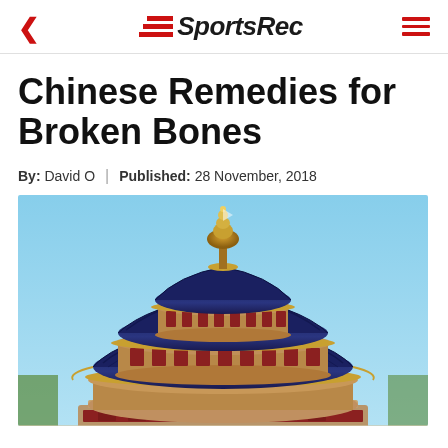SportsRec
Chinese Remedies for Broken Bones
By: David O | Published: 28 November, 2018
[Figure (photo): Photo of the Temple of Heaven in Beijing, China — a multi-tiered circular Chinese temple with dark blue glazed tile roofs against a clear blue sky]